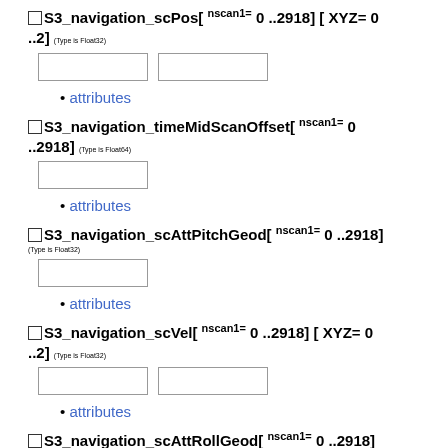☐ S3_navigation_scPos[ nscan1= 0 ..2918] [ XYZ= 0 ..2] (Type is Float32)
[input boxes]
attributes
☐ S3_navigation_timeMidScanOffset[ nscan1= 0 ..2918] (Type is Float64)
[input box]
attributes
☐ S3_navigation_scAttPitchGeod[ nscan1= 0 ..2918] (Type is Float32)
[input box]
attributes
☐ S3_navigation_scVel[ nscan1= 0 ..2918] [ XYZ= 0 ..2] (Type is Float32)
[input boxes]
attributes
☐ S3_navigation_scAttRollGeod[ nscan1= 0 ..2918]